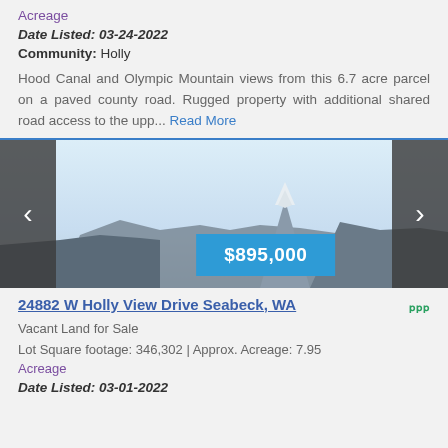Acreage
Date Listed: 03-24-2022
Community: Holly
Hood Canal and Olympic Mountain views from this 6.7 acre parcel on a paved county road. Rugged property with additional shared road access to the upp... Read More
[Figure (photo): Slideshow carousel showing a scenic landscape with mountain peak and water/sky, navigation arrows on left and right, price badge showing $895,000]
24882 W Holly View Drive Seabeck, WA
Vacant Land for Sale
Lot Square footage: 346,302 | Approx. Acreage: 7.95
Acreage
Date Listed: 03-01-2022